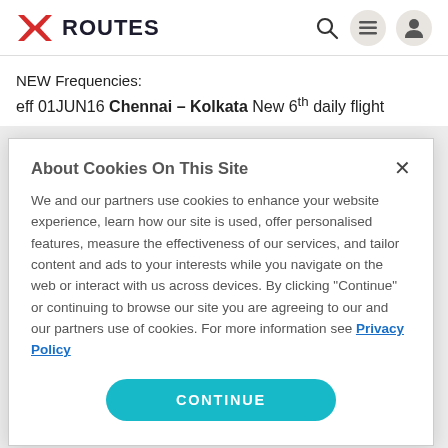ROUTES
NEW Frequencies:
eff 01JUN16 Chennai – Kolkata New 6th daily flight
About Cookies On This Site
We and our partners use cookies to enhance your website experience, learn how our site is used, offer personalised features, measure the effectiveness of our services, and tailor content and ads to your interests while you navigate on the web or interact with us across devices. By clicking "Continue" or continuing to browse our site you are agreeing to our and our partners use of cookies. For more information see Privacy Policy
CONTINUE